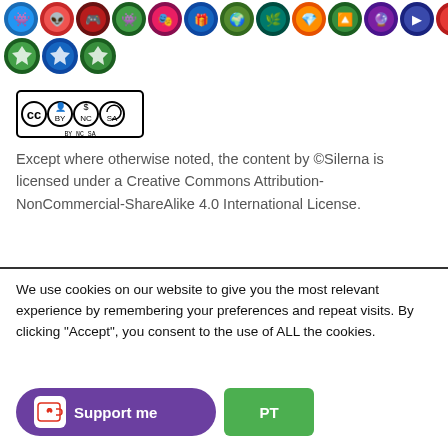[Figure (illustration): Two rows of colorful circular game/app icons. Row 1 has approximately 13 icons, row 2 has 3 icons. Each icon is a circular badge with colorful game-related imagery on a dark or colored background.]
[Figure (logo): Creative Commons license badge showing CC BY NC SA icons in a black bordered rectangle]
Except where otherwise noted, the content by ©Silerna is licensed under a Creative Commons Attribution-NonCommercial-ShareAlike 4.0 International License.
We use cookies on our website to give you the most relevant experience by remembering your preferences and repeat visits. By clicking “Accept”, you consent to the use of ALL the cookies.
[Figure (logo): Ko-fi Support me button (purple rounded rectangle with white Ko-fi cup icon and 'Support me' text) alongside a green Accept button]